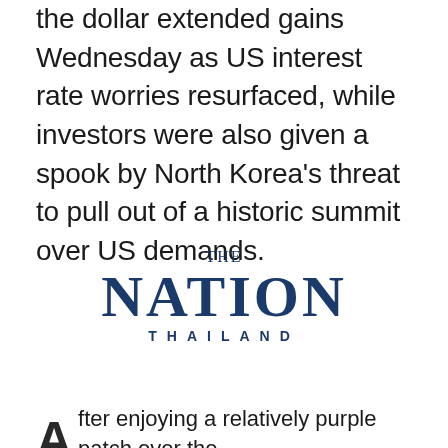the dollar extended gains Wednesday as US interest rate worries resurfaced, while investors were also given a spook by North Korea's threat to pull out of a historic summit over US demands.
[Figure (logo): The Nation Thailand newspaper logo — 'THE' in small serif text above large bold serif 'NATION', with 'THAILAND' in spaced caps below, all in dark navy blue.]
After enjoying a relatively purple patch over the